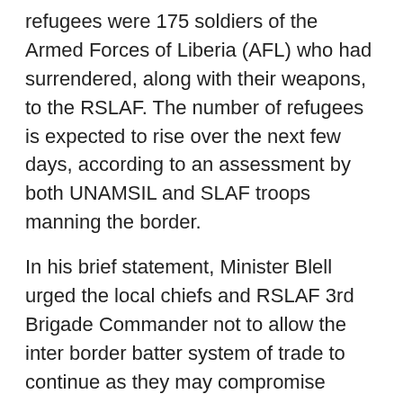refugees were 175 soldiers of the Armed Forces of Liberia (AFL) who had surrendered, along with their weapons, to the RSLAF. The number of refugees is expected to rise over the next few days, according to an assessment by both UNAMSIL and SLAF troops manning the border.
In his brief statement, Minister Blell urged the local chiefs and RSLAF 3rd Brigade Commander not to allow the inter border batter system of trade to continue as they may compromise security in the area. The local paramount chief requested the deputy minister to provide them with transport to move refugees from the border to camps inside the country to ensure security along the border areas.
The delegation later held a brief discussion with fighters from the Liberians United for Reconciliation and Democracy (LURD) on the Mano River Bridge. Maj. Gen. Athar reiterated the Force Commander's earlier message over the weekend in